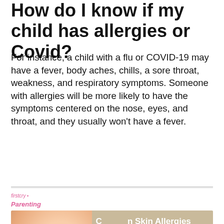How do I know if my child has allergies or Covid?
For instance, a child with a flu or COVID-19 may have a fever, body aches, chills, a sore throat, weakness, and respiratory symptoms. Someone with allergies will be more likely to have the symptoms centered on the nose, eyes, and throat, and they usually won't have a fever.
[Figure (screenshot): FirstCry Parenting branded YouTube video thumbnail showing a baby with text 'Common Skin Allergies in Babies & How to Deal with them' and a YouTube play button overlay]